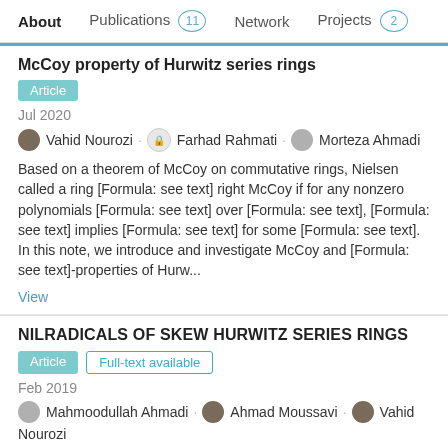About   Publications 11   Network   Projects 2
McCoy property of Hurwitz series rings
Article
Jul 2020
Vahid Nourozi · Farhad Rahmati · Morteza Ahmadi
Based on a theorem of McCoy on commutative rings, Nielsen called a ring [Formula: see text] right McCoy if for any nonzero polynomials [Formula: see text] over [Formula: see text], [Formula: see text] implies [Formula: see text] for some [Formula: see text]. In this note, we introduce and investigate McCoy and [Formula: see text]-properties of Hurw...
View
NILRADICALS OF SKEW HURWITZ SERIES RINGS
Article   Full-text available
Feb 2019
Mahmoodullah Ahmadi · Ahmad Moussavi · Vahid Nourozi